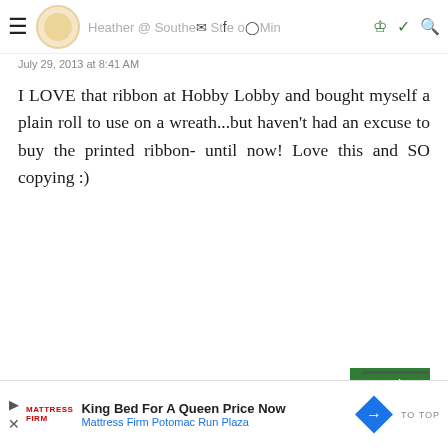Heather @ Southern State of Mind
July 29, 2013 at 8:41 AM
I LOVE that ribbon at Hobby Lobby and bought myself a plain roll to use on a wreath...but haven't had an excuse to buy the printed ribbon- until now! Love this and SO copying :)
Unknown
July 29, 2013 at 9:15 AM
love the green, totally you! :)
[Figure (other): Advertisement banner: King Bed For A Queen Price Now - Mattress Firm Potomac Run Plaza]